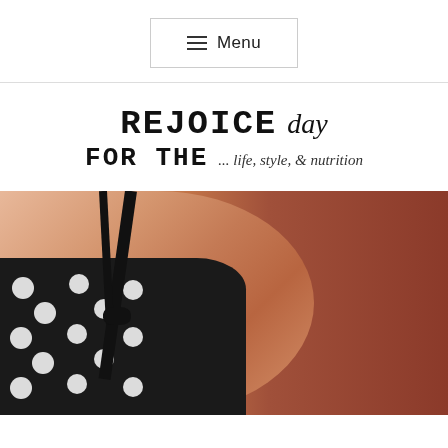☰ Menu
REJOICE day FOR THE ... life, style, & nutrition
[Figure (photo): Close-up photo of a woman wearing a black polka-dot dress with spaghetti straps, her shoulder and arm visible, against a red brick wall background.]